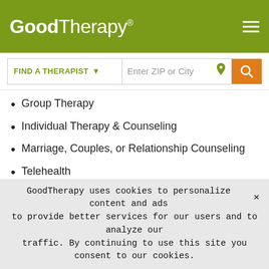GoodTherapy®
Group Therapy
Individual Therapy & Counseling
Marriage, Couples, or Relationship Counseling
Telehealth
AGES I WORK WITH
Teens
Adults
Elders
LANGUAGES
GoodTherapy uses cookies to personalize content and ads to provide better services for our users and to analyze our traffic. By continuing to use this site you consent to our cookies.